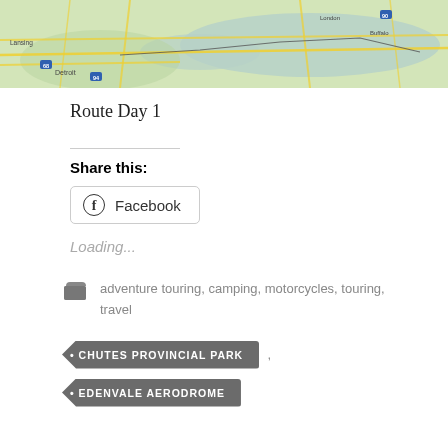[Figure (map): Map showing Detroit area and surrounding region including parts of Michigan, Ontario, and Lake Erie with road networks highlighted in yellow]
Route Day 1
Share this:
[Figure (other): Facebook share button with Facebook logo icon]
Loading...
adventure touring, camping, motorcycles, touring, travel
CHUTES PROVINCIAL PARK
EDENVALE AERODROME